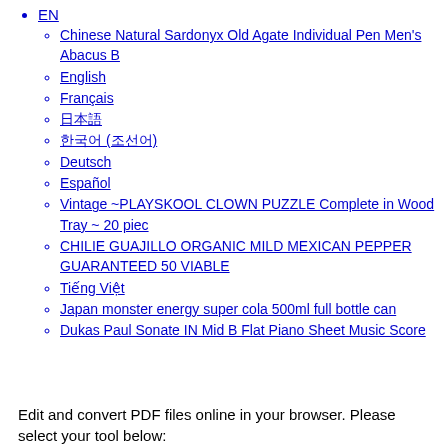EN
Chinese Natural Sardonyx Old Agate Individual Pen Men's Abacus B
English
Français
日本語
한국어 (조선어)
Deutsch
Español
Vintage ~PLAYSKOOL CLOWN PUZZLE Complete in Wood Tray ~ 20 piec
CHILIE GUAJILLO ORGANIC MILD MEXICAN PEPPER GUARANTEED 50 VIABLE
Tiếng Việt
Japan monster energy super cola 500ml full bottle can
Dukas Paul Sonate IN Mid B Flat Piano Sheet Music Score
Edit and convert PDF files online in your browser. Please select your tool below: